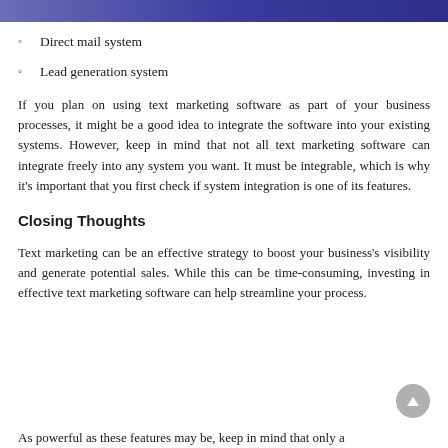Direct mail system
Lead generation system
If you plan on using text marketing software as part of your business processes, it might be a good idea to integrate the software into your existing systems. However, keep in mind that not all text marketing software can integrate freely into any system you want. It must be integrable, which is why it's important that you first check if system integration is one of its features.
Closing Thoughts
Text marketing can be an effective strategy to boost your business's visibility and generate potential sales. While this can be time-consuming, investing in effective text marketing software can help streamline your process.
As powerful as these features may be, keep in mind that only a